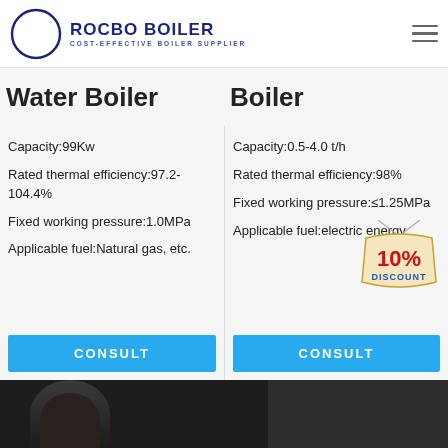[Figure (logo): Rocbo Boiler logo with crescent moon icon and tagline 'COST-EFFECTIVE BOILER SUPPLIER']
Water Boiler | Boiler
Capacity:99Kw
Rated thermal efficiency:97.2-104.4%
Fixed working pressure:1.0MPa
Applicable fuel:Natural gas, etc.
Capacity:0.5-4.0 t/h
Rated thermal efficiency:98%
Fixed working pressure:≤1.25MPa
Applicable fuel:electric energy
[Figure (illustration): 10% DISCOUNT badge/sticker graphic in red and blue]
CONSULT
CONSULT
[Figure (photo): Dark background with partial face/person visible at bottom]